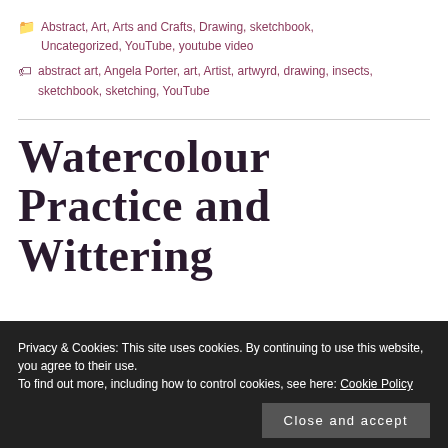Abstract, Art, Arts and Crafts, Drawing, sketchbook, Uncategorized, YouTube, youtube video
abstract art, Angela Porter, art, Artist, artwyrd, drawing, insects, sketchbook, sketching, YouTube
Watercolour Practice and Wittering
Privacy & Cookies: This site uses cookies. By continuing to use this website, you agree to their use. To find out more, including how to control cookies, see here: Cookie Policy
Close and accept
[Figure (photo): Bottom strip showing partial images of art/watercolour content]